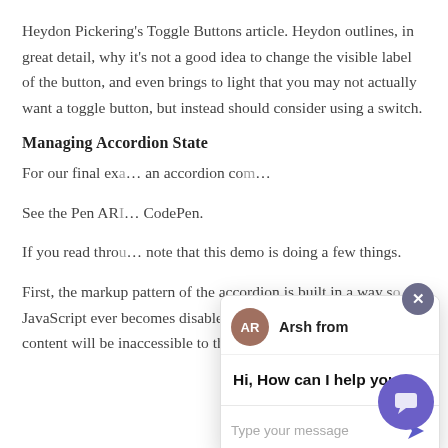Heydon Pickering's Toggle Buttons article. Heydon outlines, in great detail, why it's not a good idea to change the visible label of the button, and even brings to light that you may not actually want a toggle button, but instead should consider using a switch.
Managing Accordion State
For our final exa… an accordion co…
See the Pen AR… CodePen.
If you read thro… note that this demo is doing a few things.
First, the markup pattern of the accordion is built in a way s… JavaScript ever becomes disabled for any reason, none of th… content will be inaccessible to those users, as the panels are only
[Figure (screenshot): Chat widget popup showing 'Arsh from' with avatar 'AR', message 'Hi, How can I help you?', and a text input field. A purple close button (X) appears in the top right. A purple chat launcher button appears in the bottom right corner.]